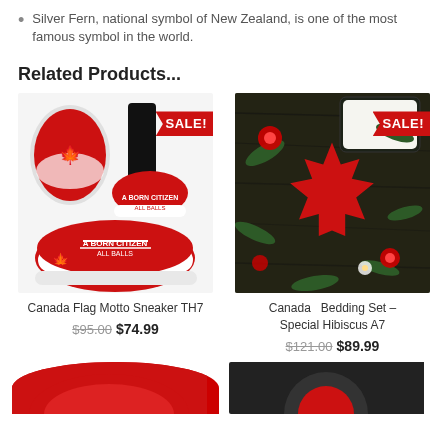Silver Fern, national symbol of New Zealand, is one of the most famous symbol in the world.
Related Products...
[Figure (photo): Canada Flag Motto Sneaker TH7 with red and white design, showing multiple angles, with a red SALE! banner]
[Figure (photo): Canada Bedding Set Special Hibiscus A7 with red maple leaf and hibiscus floral design on dark background, with a red SALE! banner]
Canada Flag Motto Sneaker TH7
$95.00  $74.99
Canada  Bedding Set – Special Hibiscus A7
$121.00  $89.99
[Figure (photo): Partial view of a product thumbnail at bottom left]
[Figure (photo): Partial view of a product thumbnail at bottom right]